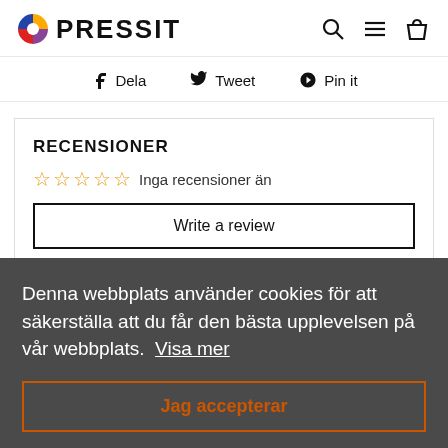PRESSIT
Dela  Tweet  Pin it
RECENSIONER
Inga recensioner än
Write a review
FLER INTRESSANTA PRODUKTER
Denna webbplats använder cookies för att säkerställa att du får den bästa upplevelsen på vår webbplats. Visa mer
Jag accepterar